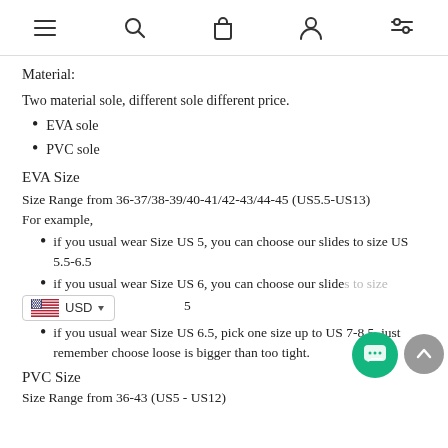navigation icons: menu, search, bag, user, filter
Material:
Two material sole, different sole different price.
EVA sole
PVC sole
EVA Size
Size Range from 36-37/38-39/40-41/42-43/44-45 (US5.5-US13)
For example,
if you usual wear Size US 5, you can choose our slides to size US 5.5-6.5
if you usual wear Size US 6, you can choose our slides to size [partially hidden] 5
if you usual wear Size US 6.5, pick one size up to US 7-8.5, just remember choose loose is bigger than too tight.
PVC Size
Size Range from 36-43 (US5 - US12)